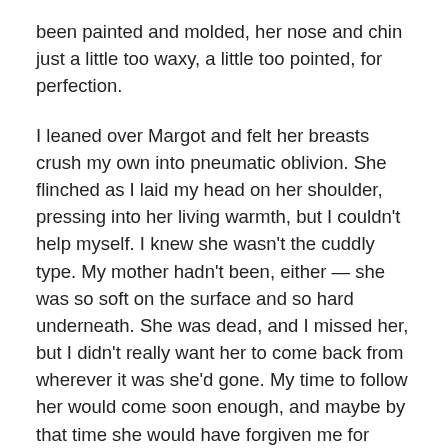been painted and molded, her nose and chin just a little too waxy, a little too pointed, for perfection.

I leaned over Margot and felt her breasts crush my own into pneumatic oblivion. She flinched as I laid my head on her shoulder, pressing into her living warmth, but I couldn't help myself. I knew she wasn't the cuddly type. My mother hadn't been, either — she was so soft on the surface and so hard underneath. She was dead, and I missed her, but I didn't really want her to come back from wherever it was she'd gone. My time to follow her would come soon enough, and maybe by that time she would have forgiven me for ruining her life with my pathetic neediness. I knew I was taking liberties with Margot, but I kept holding onto her anyway, waiting for her to gather up the nerve to push me away.